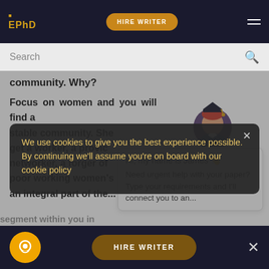EPhD | HIRE WRITER
Search
community. Why?
Focus on women and you will find a who wants a stable community. She get a worker, a provic networker, a forger of poor working women's an integral part of the...
[Figure (illustration): Chat assistant avatar - cartoon figure with graduation cap]
Hi, my name is James 👋 Need urgent help with your paper? Type your requirements and I'll connect you to an...
We use cookies to give you the best experience possible. By continuing we'll assume you're on board with our cookie policy
HIRE WRITER